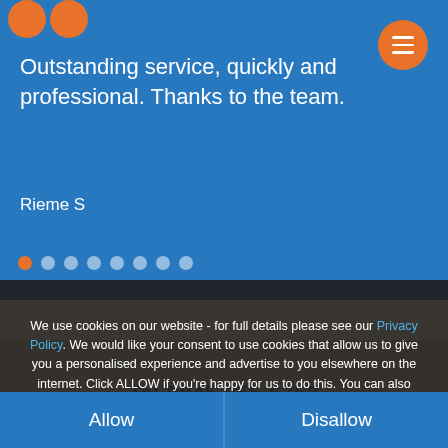[Figure (illustration): Two orange circles at top left, orange hamburger menu button at top right on blue background]
Outstanding service, quickly and professional. Thanks to the team.
Rieme S
[Figure (other): Pagination dots row: one orange active dot followed by seven white semi-transparent dots]
We use cookies on our website - for full details please see our Privacy Policy. We would like your consent to use cookies that allow us to give you a personalised experience and advertise to you elsewhere on the internet. Click ALLOW if you're happy for us to do this. You can also choose to disallow all optional cookies by clicking DISALLOW.
Tel 0845 055 6753
Allow
Disallow